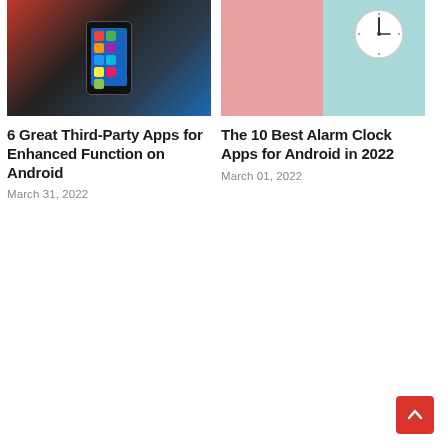[Figure (photo): Smartphone with app icons displayed, mounted in a car holder, red background with dark car interior]
6 Great Third-Party Apps for Enhanced Function on Android
March 31, 2022
[Figure (photo): Analog clock on a pink and teal pastel background wall]
The 10 Best Alarm Clock Apps for Android in 2022
March 01, 2022